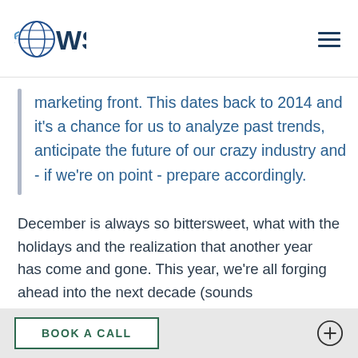WSI
marketing front. This dates back to 2014 and it’s a chance for us to analyze past trends, anticipate the future of our crazy industry and - if we’re on point - prepare accordingly.
December is always so bittersweet, what with the holidays and the realization that another year has come and gone. This year, we’re all forging ahead into the next decade (sounds
BOOK A CALL